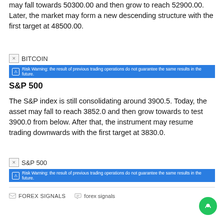may fall towards 50300.00 and then grow to reach 52900.00. Later, the market may form a new descending structure with the first target at 48500.00.
[Figure (screenshot): Broken image placeholder labeled BITCOIN]
Risk Warning: the result of previous trading operations do not guarantee the same results in the future.
S&P 500
The S&P index is still consolidating around 3900.5. Today, the asset may fall to reach 3852.0 and then grow towards to test 3900.0 from below. After that, the instrument may resume trading downwards with the first target at 3830.0.
[Figure (screenshot): Broken image placeholder labeled S&P 500]
Risk Warning: the result of previous trading operations do not guarantee the same results in the future.
FOREX SIGNALS   forex signals